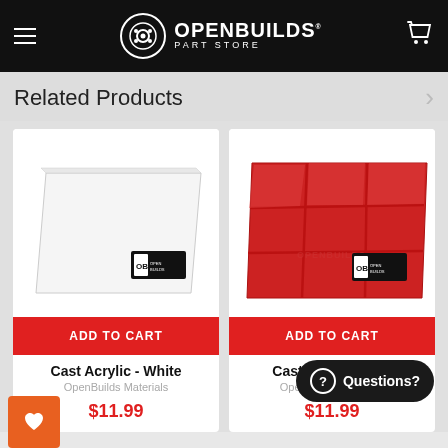OPENBUILDS PART STORE
Related Products
[Figure (photo): White cast acrylic sheet with OpenBuilds logo sticker]
ADD TO CART
Cast Acrylic - White
OpenBuilds Materials
$11.99
[Figure (photo): Red cast acrylic sheet with grid pattern and OpenBuilds logo sticker]
ADD TO CART
Cast Acrylic - Red
OpenBuilds Materials
$11.99
Questions?